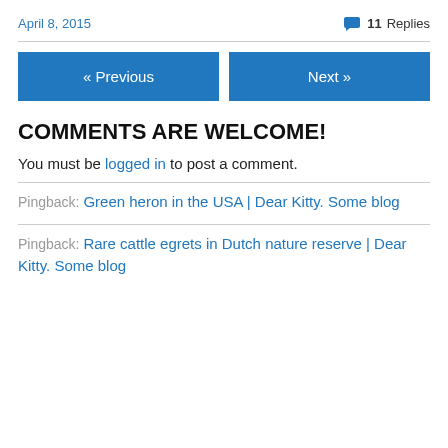April 8, 2015
💬 11 Replies
« Previous
Next »
COMMENTS ARE WELCOME!
You must be logged in to post a comment.
Pingback: Green heron in the USA | Dear Kitty. Some blog
Pingback: Rare cattle egrets in Dutch nature reserve | Dear Kitty. Some blog